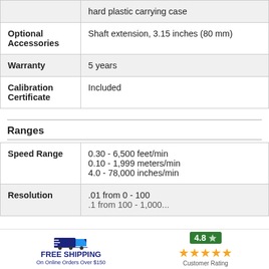| Feature | Value |
| --- | --- |
|  | hard plastic carrying case |
| Optional Accessories | Shaft extension, 3.15 inches (80 mm) |
| Warranty | 5 years |
| Calibration Certificate | Included |
Ranges
| Feature | Value |
| --- | --- |
| Speed Range | 0.30 - 6,500 feet/min
0.10 - 1,999 meters/min
4.0 - 78,000 inches/min |
| Resolution | .01 from 0 - 100
.1 from 100 - 1,000... |
FREE SHIPPING On Online Orders Over $150 | 4.8 Customer Rating